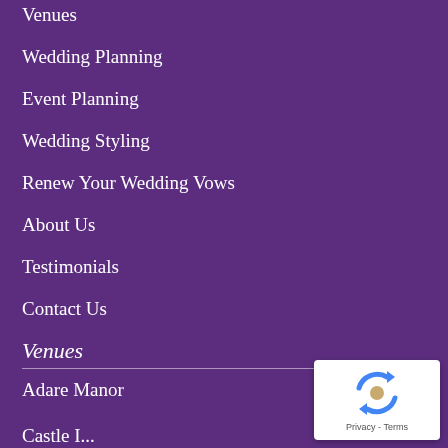Venues
Wedding Planning
Event Planning
Wedding Styling
Renew Your Wedding Vows
About Us
Testimonials
Contact Us
Venues
Adare Manor
Castle I...